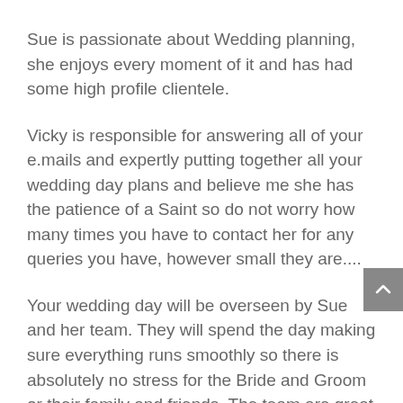Sue is passionate about Wedding planning, she enjoys every moment of it and has had some high profile clientele.
Vicky is responsible for answering all of your e.mails and expertly putting together all your wedding day plans and believe me she has the patience of a Saint so do not worry how many times you have to contact her for any queries you have, however small they are....
Your wedding day will be overseen by Sue and her team. They will spend the day making sure everything runs smoothly so there is absolutely no stress for the Bride and Groom or their family and friends. The team are great and are always ready with a needle and thread for those last minute snags, or to run around shopping the morning of a wedding looking for a cream tie which the Best man